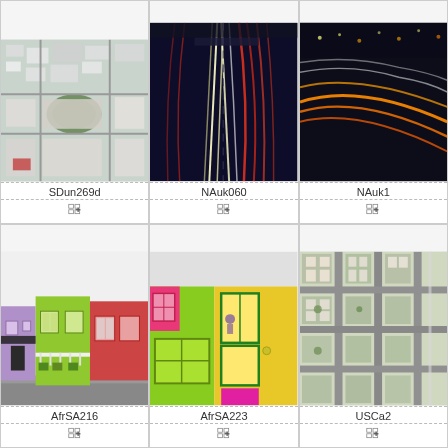[Figure (photo): Aerial view of a city with roads and buildings, bird's eye perspective]
SDun269d
[Figure (photo): Long-exposure night photo of highway with light trails, red and white streaks]
NAuk060
[Figure (photo): Night photo of curved highway with orange/red light trails]
NAuk1
[Figure (photo): Colorful Bo-Kaap style houses, lime green, purple, red facades on street]
AfrSA216
[Figure (photo): Bright colorful building facade, lime green and yellow walls with windows]
AfrSA223
[Figure (photo): Aerial view of suburban neighborhood with grid streets and houses]
USCa2